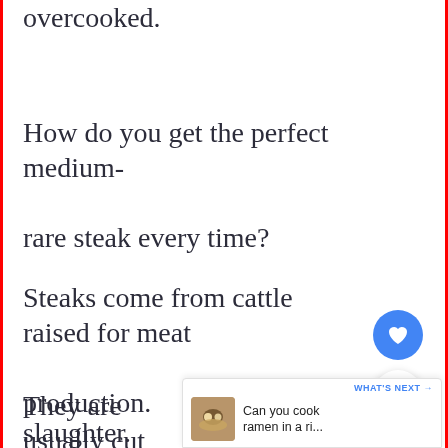overcooked.
How do you get the perfect medium-

rare steak every time?
Steaks come from cattle raised for meat

production.
They are usually cut into steaks after
slaughter.
[Figure (other): Heart/favorite button (blue circle with heart icon) and share button (white circle with share icon)]
[Figure (other): What's Next promo bar showing 'WHAT'S NEXT →' label and 'Can you cook ramen in a ri...' with a thumbnail image of ramen]